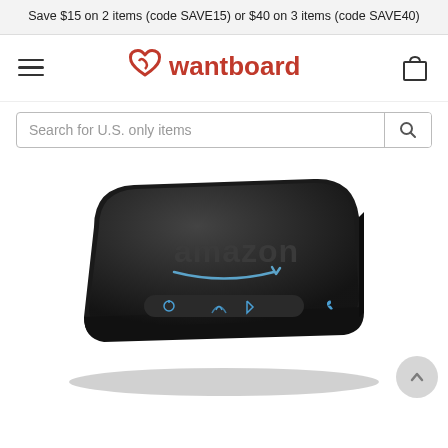Save $15 on 2 items (code SAVE15) or $40 on 3 items (code SAVE40)
[Figure (logo): Wantboard logo with heart-loop icon and brand name in red]
[Figure (photo): Amazon branded black router/hub device with glowing blue indicator lights and Amazon smile logo on top]
[Figure (other): Back-to-top scroll button (up chevron) in bottom-right corner]